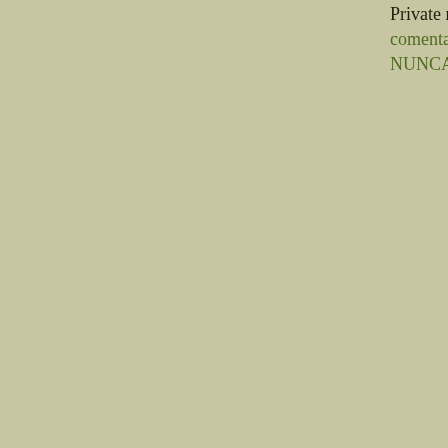Private message / comentario para... NUNCA publica...
[Figure (other): White textarea input box for private message]
Comments made... included in the c... 10, y luego se ci...
Please do the ma... su comentario.
2 + 3 = [input field]
Notify me w... comenten este a...